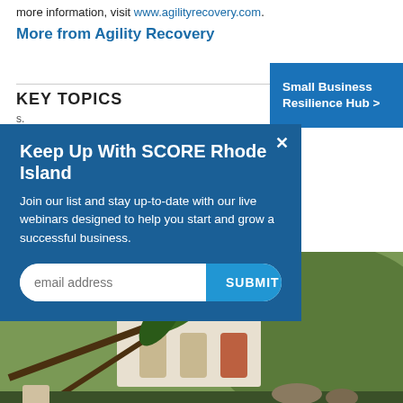more information, visit www.agilityrecovery.com.
More from Agility Recovery
KEY TOPICS
[Figure (screenshot): Small Business Resilience Hub button (blue background, white bold text)]
[Figure (infographic): Modal popup: 'Keep Up With SCORE Rhode Island' — email sign-up form with submit button on blue background]
[Figure (photo): Photo of a tropical building with fallen palm trees, likely hurricane damage]